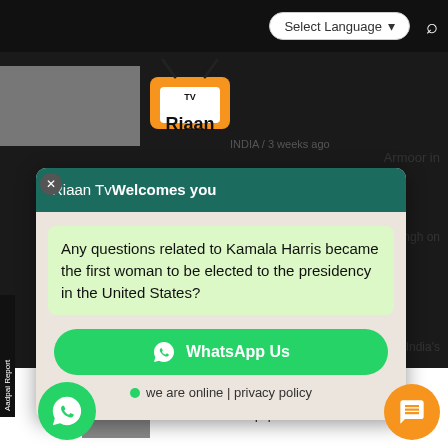[Figure (screenshot): Riaan TV website header with logo, Select Language dropdown, and search icon on black top bar]
[Figure (logo): Riaan TV logo with orange TV icon and black text]
INDIA / 3 weeks ago
Armoor in
[Figure (screenshot): WhatsApp chat widget modal overlay with teal header reading 'Riaan Tv Welcomes you', a green chat bubble containing the question about Kamala Harris, a WhatsApp Us button, and online status line]
Riaan Tv Welcomes you
Any questions related to Kamala Harris became the first woman to be elected to the presidency in the United States?
WhatsApp Us
we are online | privacy policy
preet Singh on
atches
huli wins India's
NEWS BULLETIN / 4 weeks ago
Ukraine received the first shipment of Ge defence equipment
Aadpai Report